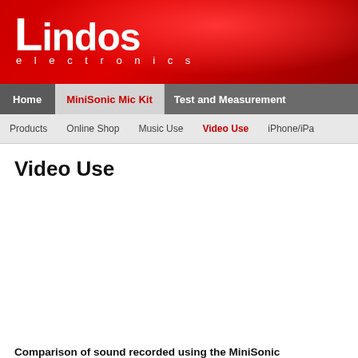[Figure (logo): Lindos electronics logo — white text on red gradient background. Large 'Lindos' wordmark with 'electronics' in small spaced letters below.]
Home | MiniSonic Mic Kit | Test and Measurement
Products | Online Shop | Music Use | Video Use | iPhone/iPa...
Video Use
[Figure (screenshot): Embedded video player area (blank/white, content not visible)]
Comparison of sound recorded using the MiniSonic